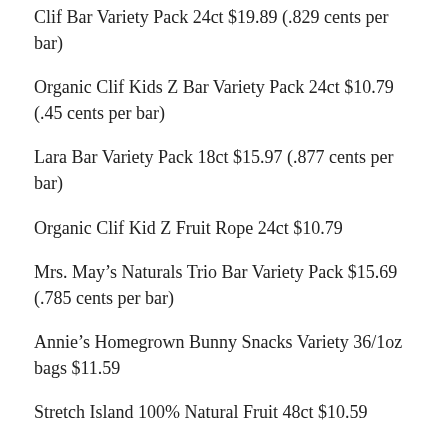Clif Bar Variety Pack 24ct $19.89 (.829 cents per bar)
Organic Clif Kids Z Bar Variety Pack 24ct $10.79 (.45 cents per bar)
Lara Bar Variety Pack 18ct $15.97 (.877 cents per bar)
Organic Clif Kid Z Fruit Rope 24ct $10.79
Mrs. May’s Naturals Trio Bar Variety Pack $15.69 (.785 cents per bar)
Annie’s Homegrown Bunny Snacks Variety 36/1oz bags $11.59
Stretch Island 100% Natural Fruit 48ct $10.59
Sun-Maid Organic Raisins 2/2lb bags .125 per oz $7.99